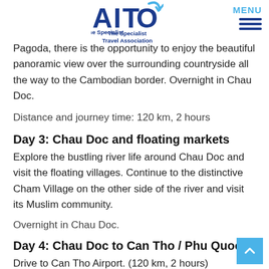AITO The Specialist Travel Association | MENU
Pagoda, there is the opportunity to enjoy the beautiful panoramic view over the surrounding countryside all the way to the Cambodian border. Overnight in Chau Doc.
Distance and journey time: 120 km, 2 hours
Day 3: Chau Doc and floating markets
Explore the bustling river life around Chau Doc and visit the floating villages. Continue to the distinctive Cham Village on the other side of the river and visit its Muslim community.
Overnight in Chau Doc.
Day 4: Chau Doc to Can Tho / Phu Quoc
Drive to Can Tho Airport. (120 km, 2 hours)